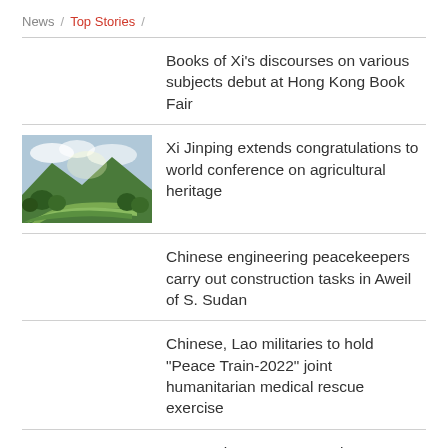News / Top Stories /
Books of Xi's discourses on various subjects debut at Hong Kong Book Fair
Xi Jinping extends congratulations to world conference on agricultural heritage
Chinese engineering peacekeepers carry out construction tasks in Aweil of S. Sudan
Chinese, Lao militaries to hold "Peace Train-2022" joint humanitarian medical rescue exercise
PLA spokesperson remarks on US destroyer's trespassing China's territorial waters off Xisha Islands on July 13